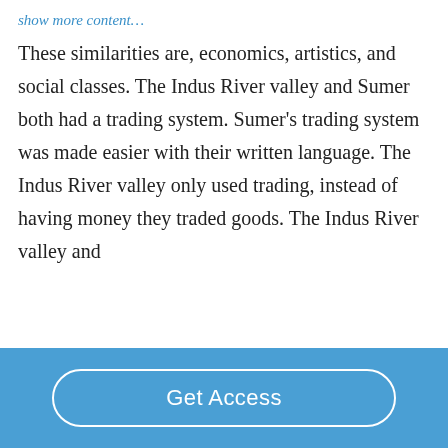show more content…
These similarities are, economics, artistics, and social classes. The Indus River valley and Sumer both had a trading system. Sumer's trading system was made easier with their written language. The Indus River valley only used trading, instead of having money they traded goods. The Indus River valley and
Get Access